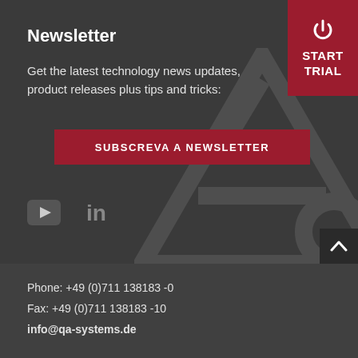Newsletter
Get the latest technology news updates, product releases plus tips and tricks:
SUBSCREVA A NEWSLETTER
[Figure (logo): YouTube icon]
[Figure (logo): LinkedIn icon]
Phone: +49 (0)711 138183 -0
Fax: +49 (0)711 138183 -10
info@qa-systems.de